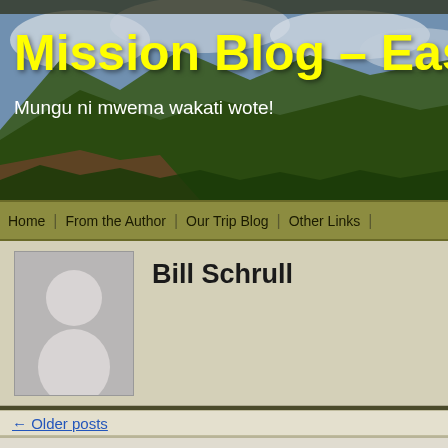[Figure (photo): Mountain landscape banner with green hills under cloudy sky, serving as blog header background]
Mission Blog – East Afri…
Mungu ni mwema wakati wote!
Home | From the Author | Our Trip Blog | Other Links |
Bill Schrull
[Figure (illustration): Default grey avatar/silhouette placeholder image]
← Older posts
5-19-2022 Onward to Ke…
Published May 19, 2022 | By Bill Schrull
[Figure (photo): Palm trees against cloudy sky, bottom portion of page]